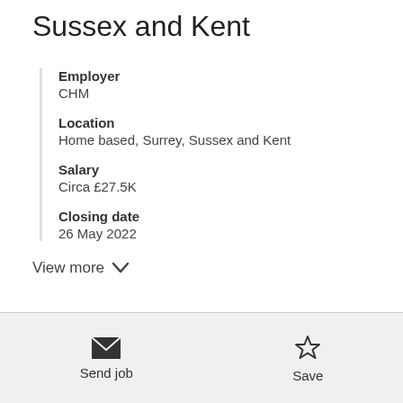Sussex and Kent
Employer
CHM
Location
Home based, Surrey, Sussex and Kent
Salary
Circa £27.5K
Closing date
26 May 2022
View more
Send job    Save